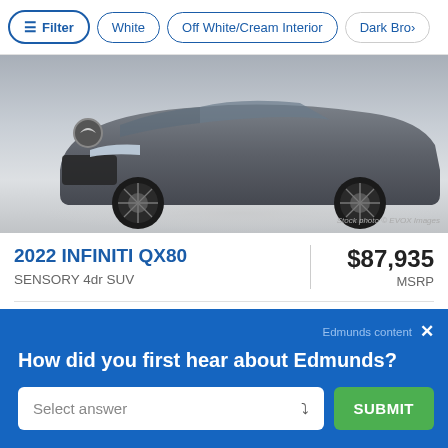Filter | White | Off White/Cream Interior | Dark Bro>
[Figure (photo): Front three-quarter view of a 2022 INFINITI QX80 in Anthracite Gray on a light studio background. Stock photo © EVOX Images watermark visible in lower right.]
2022 INFINITI QX80
SENSORY 4dr SUV
$87,935 MSRP
● Anthracite Gray  ● Saddle premium leather
Edmunds content  ×
How did you first hear about Edmunds?
Select answer  ˅  SUBMIT